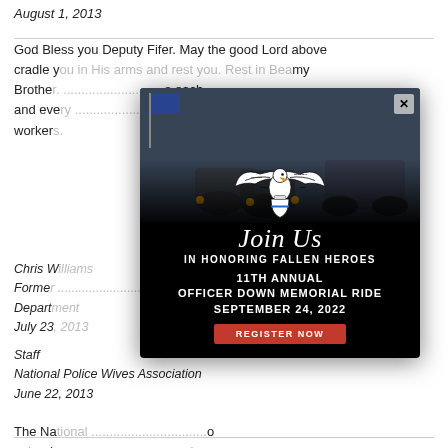August 1, 2013
God Bless you Deputy Fifer. May the good Lord above cradle you in His arms and rest you. Rest in Peace my Brother. ... to each and every ... co-workers
Chris W.
Former ... Sheriffs Depart...
July 23...
[Figure (other): Officer Down Memorial Ride popup modal overlay showing motorcycle photo background, eagle logo, 'Join Us In Honoring Fallen Heroes', '11th Annual Officer Down Memorial Ride September 24, 2022', and 'Register Now' red button. Close X button at top right.]
The Na... o extend ... ty Sheriff ... s Office during ... service.
Staff
National Police Wives Association
June 22, 2013